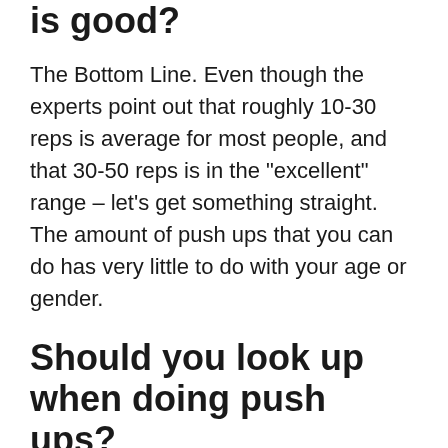How many pushups in a row is good?
The Bottom Line. Even though the experts point out that roughly 10-30 reps is average for most people, and that 30-50 reps is in the “excellent” range – let’s get something straight. The amount of push ups that you can do has very little to do with your age or gender.
Should you look up when doing push ups?
Looking up helps you keep your body in line, but feel free to look down if that helps you concentrate more. 7) At the top of your push-up, your arms should be straight and